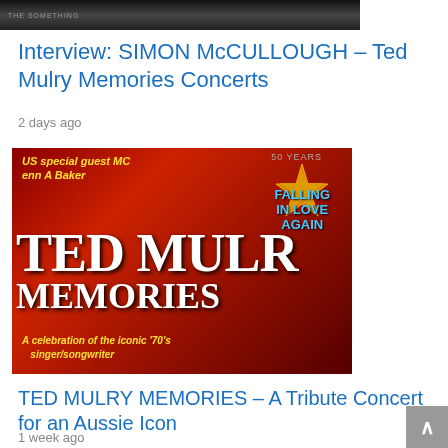[Figure (photo): Black and white photo of a person at the top of the page, partially visible]
Interview: SIMON McCULLOUGH – Ted Mulry Memories Concerts
2 days ago
[Figure (photo): Concert poster for Ted Mulry Memories – a celebration of the iconic '70s singer/songwriter, featuring text 'US special guest MC Jenn A Baker', '50 Years', 'Falling In Love Again', and 'A celebration of the iconic '70s singer/songwriter' on a red background]
TED MULRY MEMORIES – A Tribute Concert for an Aussie Icon
1 week ago